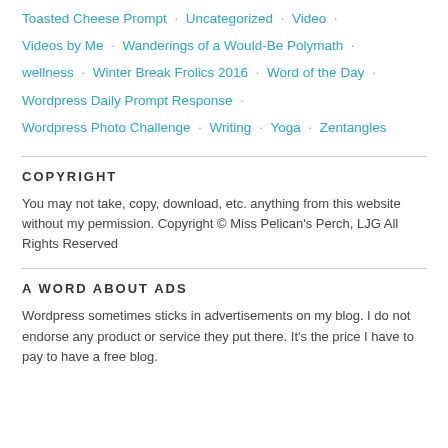Toasted Cheese Prompt · Uncategorized · Video · Videos by Me · Wanderings of a Would-Be Polymath · wellness · Winter Break Frolics 2016 · Word of the Day · Wordpress Daily Prompt Response · Wordpress Photo Challenge · Writing · Yoga · Zentangles
COPYRIGHT
You may not take, copy, download, etc. anything from this website without my permission. Copyright © Miss Pelican's Perch, LJG All Rights Reserved
A WORD ABOUT ADS
Wordpress sometimes sticks in advertisements on my blog. I do not endorse any product or service they put there. It's the price I have to pay to have a free blog.